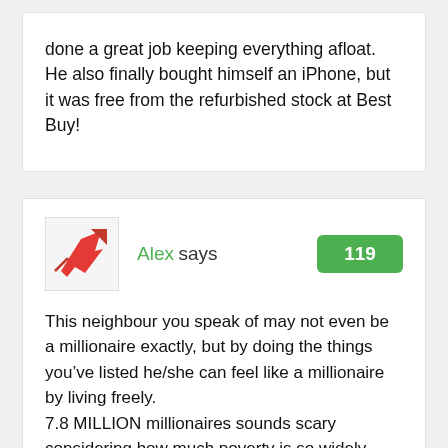done a great job keeping everything afloat. He also finally bought himself an iPhone, but it was free from the refurbished stock at Best Buy!
Alex says
119
This neighbour you speak of may not even be a millionaire exactly, but by doing the things you've listed he/she can feel like a millionaire by living freely.
7.8 MILLION millionaires sounds scary considering how much poverty is so widely